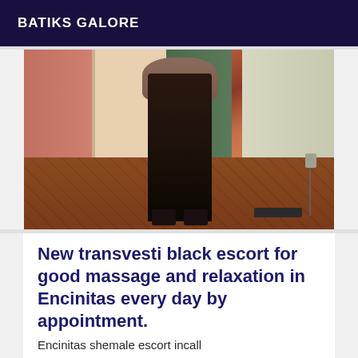BATIKS GALORE
[Figure (photo): Photo of a person's lower body wearing black boots/heels standing in a room with a wooden floor and doorway visible]
New transvesti black escort for good massage and relaxation in Encinitas every day by appointment.
Encinitas shemale escort incall
CC TO ALL THE GUYS IN ENCINITAS JOLI TRANSVESTI BLACK ESCORTE PASSI ET ACTIvé POUR BON MASAGE ET DETENTE A ENCINITAS
[Figure (photo): Partial photo with a Verified badge in the bottom right corner]